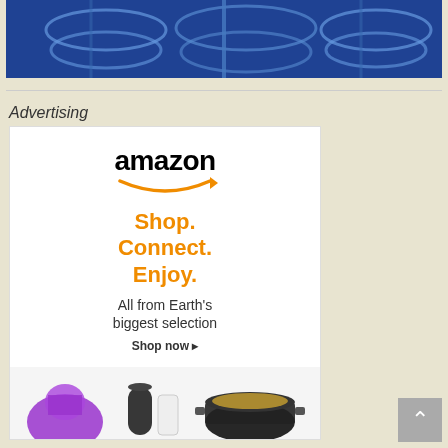[Figure (photo): X-ray style blue-toned image showing skeletal/medical imagery at the top of the page]
Advertising
[Figure (infographic): Amazon advertisement banner: amazon logo with arrow smile, text 'Shop. Connect. Enjoy. All from Earth's biggest selection. Shop now ▸', with product images at bottom including a dog, Echo device, and cooking pot]